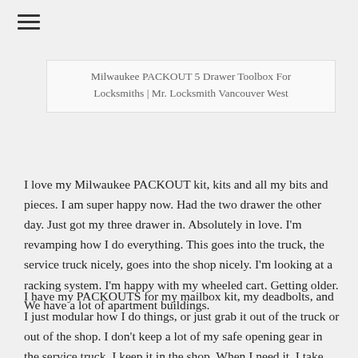≡
Milwaukee PACKOUT 5 Drawer Toolbox For Locksmiths | Mr. Locksmith Vancouver West
I love my Milwaukee PACKOUT kit, kits and all my bits and pieces. I am super happy now. Had the two drawer the other day. Just got my three drawer in. Absolutely in love. I'm revamping how I do everything. This goes into the truck, the service truck nicely, goes into the shop nicely. I'm looking at a racking system. I'm happy with my wheeled cart. Getting older. We have a lot of apartment buildings.
I have my PACKOUTS for my mailbox kit, my deadbolts, and I just modular how I do things, or just grab it out of the truck or out of the shop. I don't keep a lot of my safe opening gear in the service truck. I keep it in the shop. When I need it, I take out what I need and go to the job site. So this is gonna